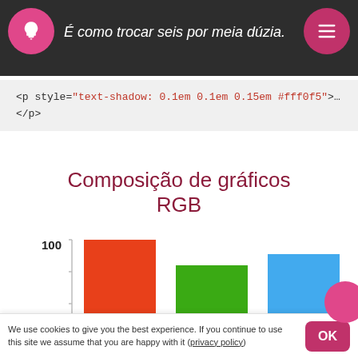É como trocar seis por meia dúzia.
<p style="text-shadow: 0.1em 0.1em 0.15em #fff0f5">…
</p>
Composição de gráficos RGB
[Figure (bar-chart): Composição de gráficos RGB]
We use cookies to give you the best experience. If you continue to use this site we assume that you are happy with it (privacy policy)